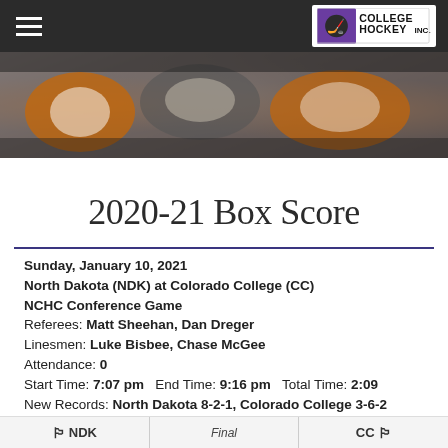College Hockey Inc.
[Figure (photo): Hockey players in orange and black jerseys at the bench]
2020-21 Box Score
Sunday, January 10, 2021
North Dakota (NDK) at Colorado College (CC)
NCHC Conference Game
Referees: Matt Sheehan, Dan Dreger
Linesmen: Luke Bisbee, Chase McGee
Attendance: 0
Start Time: 7:07 pm  End Time: 9:16 pm  Total Time: 2:09
New Records: North Dakota 8-2-1, Colorado College 3-6-2
| NDK | Final | CC |
| --- | --- | --- |